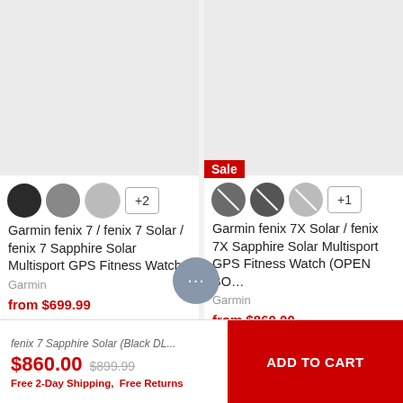[Figure (photo): Product card image area for Garmin fenix 7 / fenix 7 Solar / fenix 7 Sapphire Solar Multisport GPS Fitness Watch (left card, gray placeholder)]
+2
Garmin fenix 7 / fenix 7 Solar / fenix 7 Sapphire Solar Multisport GPS Fitness Watch
Garmin
from $699.99
[Figure (photo): Product card image area for Garmin fenix 7X Solar / fenix 7X Sapphire Solar Multisport GPS Fitness Watch OPEN BOX (right card, gray placeholder) with Sale badge]
Sale
+1
Garmin fenix 7X Solar / fenix 7X Sapphire Solar Multisport GPS Fitness Watch (OPEN BO…
Garmin
from $860.00
fenix 7 Sapphire Solar (Black DL...
$860.00 $899.99
Free 2-Day Shipping,  Free Returns
ADD TO CART